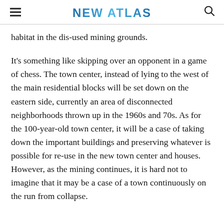NEW ATLAS
habitat in the dis-used mining grounds.
It's something like skipping over an opponent in a game of chess. The town center, instead of lying to the west of the main residential blocks will be set down on the eastern side, currently an area of disconnected neighborhoods thrown up in the 1960s and 70s. As for the 100-year-old town center, it will be a case of taking down the important buildings and preserving whatever is possible for re-use in the new town center and houses. However, as the mining continues, it is hard not to imagine that it may be a case of a town continuously on the run from collapse.